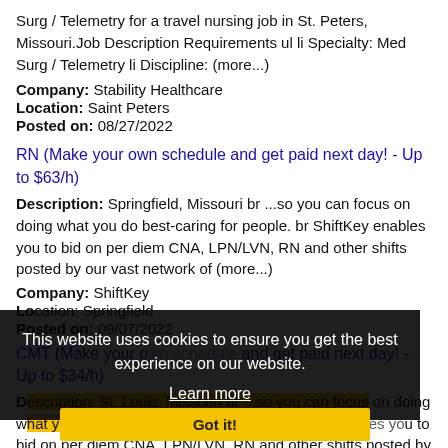Surg / Telemetry for a travel nursing job in St. Peters, Missouri. Job Description Requirements ul li Specialty: Med Surg / Telemetry li Discipline: (more...)
Company: Stability Healthcare
Location: Saint Peters
Posted on: 08/27/2022
RN (Make your own schedule and get paid next day! - Up to $63/h)
Description: Springfield, Missouri br ...so you can focus on doing what you do best-caring for people. br ShiftKey enables you to bid on per diem CNA, LPN/LVN, RN and other shifts posted by our vast network of (more...)
Company: ShiftKey
Location: Springfield
Posted on: 09/07/2022
CMT (Make your own schedule and get paid next day! - Up to $34/h)
Description: St. Louis, Missouri br ...so you can focus on doing what you do best-caring for people. br ShiftKey enables you to bid on per diem CNA, LPN/LVN, RN and other shifts posted by our vast network of Healthcare (more...)
Company: ShiftKey
This website uses cookies to ensure you get the best experience on our website. Learn more Got it!